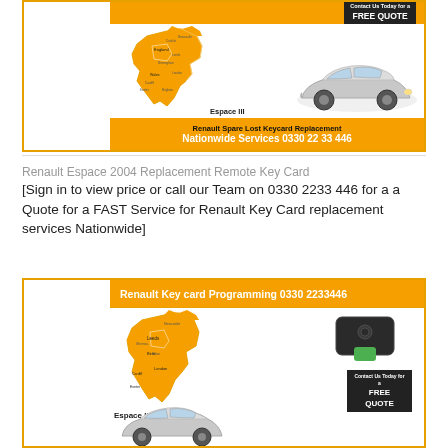[Figure (illustration): Ad box showing orange UK map, Renault Espace III car, 'Contact Us Today for a FREE QUOTE' badge, and orange banner 'Renault Spare Lost Keycard Replacement Nationwide Services 0330 22 33 446']
Renault Espace 2004 Replacement Remote Key Card
[Sign in to view price or call our Team on 0330 2233 446 for a a Quote for a FAST Service for Renault Key Card replacement services Nationwide]
[Figure (illustration): Ad box with orange header 'Renault Key card Programming 0330 2233446', showing orange UK map, Renault key card image, 'Contact Us Today for a FREE QUOTE' badge, and 'Espace III' label with car image]